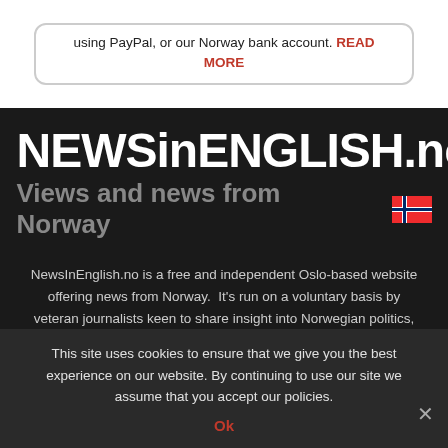using PayPal, or our Norway bank account. READ MORE
[Figure (logo): NEWSinENGLISH.no logo with tagline 'Views and news from Norway' and Norwegian flag]
NewsInEnglish.no is a free and independent Oslo-based website offering news from Norway. It’s run on a voluntary basis by veteran journalists keen to share insight into Norwegian politics, economic affairs and culture, in English.
This site uses cookies to ensure that we give you the best experience on our website. By continuing to use our site we assume that you accept our policies. Ok